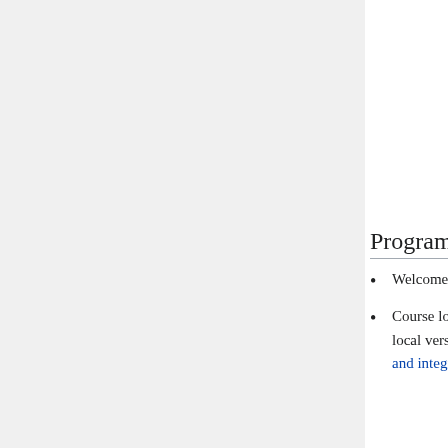Using Naive Bayes
9. Decision Tree Divide and
Clustering
14. Model Performance Assessment
15. Improving Model Performance
Cross Validation
22. Function Optimization
23. Deep Learning Neural Networks
Program Outline
Welcome and introductions
Course logistics (please come prepared with access to Internet connected computers having local versions of R (statistical computing environment) and RStudio (graphical user interface and integrated development environment)
R optimization and visualization